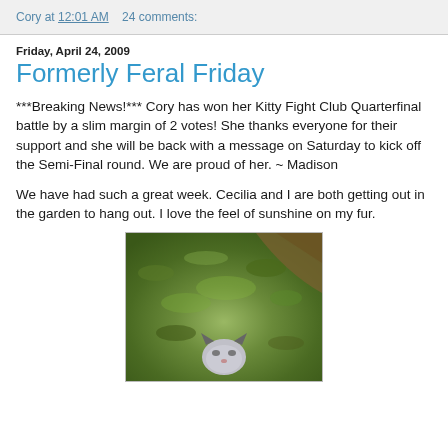Cory at 12:01 AM    24 comments:
Friday, April 24, 2009
Formerly Feral Friday
***Breaking News!*** Cory has won her Kitty Fight Club Quarterfinal battle by a slim margin of 2 votes! She thanks everyone for their support and she will be back with a message on Saturday to kick off the Semi-Final round. We are proud of her. ~ Madison
We have had such a great week. Cecilia and I are both getting out in the garden to hang out. I love the feel of sunshine on my fur.
[Figure (photo): A cat looking up from a garden with green grass and leaves; view from above showing the cat's head with dark ears]